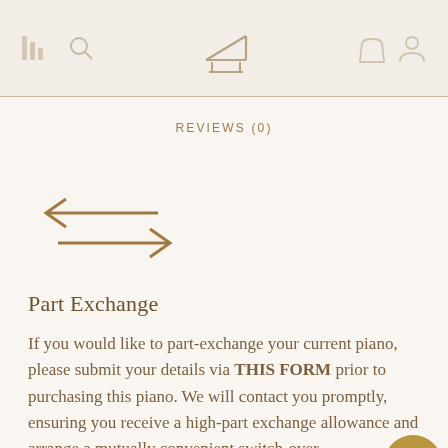Piano shop navigation header with menu, search, logo, bag and user icons
REVIEWS (0)
[Figure (illustration): Two overlapping arrows: one pointing left, one pointing right, rendered in golden-brown color, representing part exchange]
Part Exchange
If you would like to part-exchange your current piano, please submit your details via THIS FORM prior to purchasing this piano. We will contact you promptly, ensuring you receive a high-part exchange allowance and arrange a mutually convenient switch-over